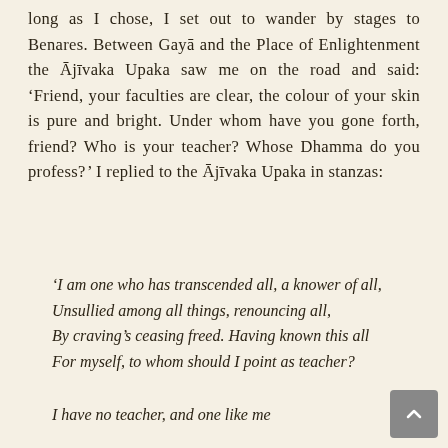long as I chose, I set out to wander by stages to Benares. Between Gayā and the Place of Enlightenment the Ājīvaka Upaka saw me on the road and said: 'Friend, your faculties are clear, the colour of your skin is pure and bright. Under whom have you gone forth, friend? Who is your teacher? Whose Dhamma do you profess? ' I replied to the Ājīvaka Upaka in stanzas:
'I am one who has transcended all, a knower of all,
Unsullied among all things, renouncing all,
By craving's ceasing freed. Having known this all
For myself, to whom should I point as teacher?
I have no teacher, and one like me